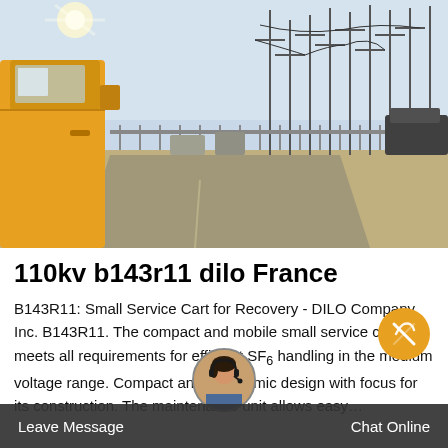[Figure (photo): Photograph of a yellow construction/service truck parked near an electrical substation with power transmission towers and lines visible in the background. Daytime, sunny conditions.]
110kv b143r11 dilo France
B143R11: Small Service Cart for Recovery - DILO Company, Inc. B143R11. The compact and mobile small service cart meets all requirements for efficient SF handling in the medium voltage range. Compact and ergonomic design with focus for its construction. The maintenance unit allows easy...